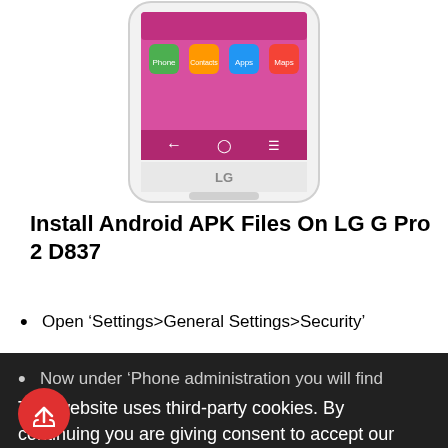[Figure (photo): LG G Pro 2 D837 smartphone showing Android home screen with app icons]
Install Android APK Files On LG G Pro 2 D837
Open ‘Settings>General Settings>Security’
Now under ‘Phone administration you will find
This website uses third-party cookies. By continuing you are giving consent to accept our cookie policies. Learn more
Got it!
Now check ‘Verify Sources’ a security popup will open. Tap OK to close it.
Now check ‘Verify Sources’ (Disallow or Warn before installation of apps which can cause harm). If this option enabled then harmful or